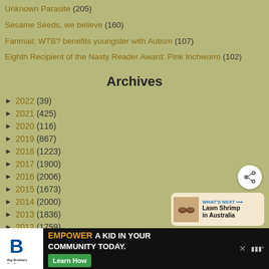Unknown Parasite (205)
Sesame Seeds, we believe (160)
Fanmail: WTB? benefits youngster with Autism (107)
Eighth Recipient of the Nasty Reader Award: Pink Inchworm (102)
Archives
2022 (39)
2021 (425)
2020 (116)
2019 (867)
2018 (1223)
2017 (1900)
2016 (2006)
2015 (1673)
2014 (2000)
2013 (1836)
2012 (1759)
[Figure (screenshot): Share button (circular white button with share icon)]
[Figure (screenshot): What's Next card showing Lawn Shrimp in Australia with thumbnail]
[Figure (screenshot): Advertisement banner: Big Brothers Big Sisters - Empower A Kid In Your Community Today with Learn How button]